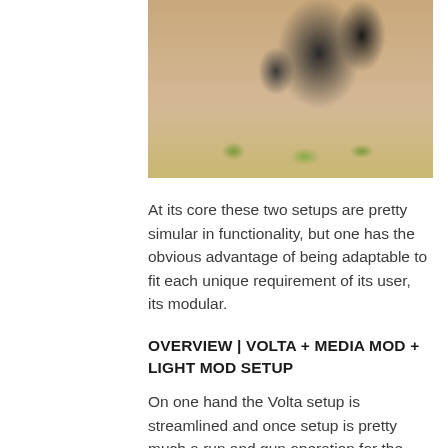[Figure (photo): Blurred outdoor photo showing dark/black objects (possibly camera equipment or animals in motion) against a sandy/tan background with some green vegetation at the bottom]
At its core these two setups are pretty simular in functionality, but one has the obvious advantage of being adaptable to fit each unique requirement of its user, its modular.
OVERVIEW | VOLTA + MEDIA MOD + LIGHT MOD SETUP
On one hand the Volta setup is streamlined and once setup is pretty much a run and gun operation for the constant vlogger. I believe GoPro had